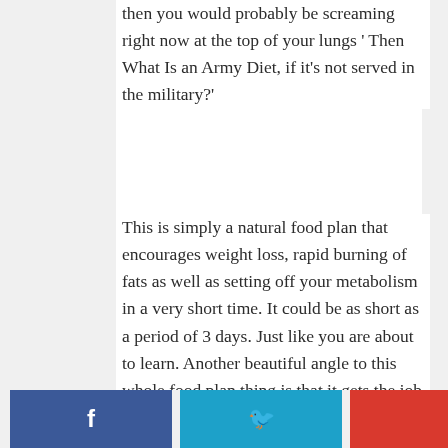then you would probably be screaming right now at the top of your lungs ‘ Then What Is an Army Diet, if it’s not served in the military?’
This is simply a natural food plan that encourages weight loss, rapid burning of fats as well as setting off your metabolism in a very short time. It could be as short as a period of 3 days. Just like you are about to learn. Another beautiful angle to this whole food plan thing is that it gets the job done without having you go through difficult
[Figure (other): Social sharing buttons: Facebook (blue), Twitter (light blue), and a partial red button on the right]